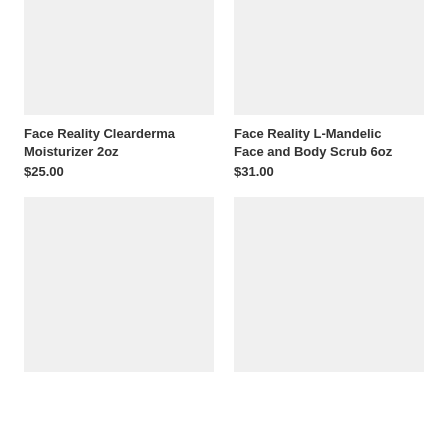[Figure (photo): Product image placeholder for Face Reality Clearderma Moisturizer 2oz — light gray rectangle]
[Figure (photo): Product image placeholder for Face Reality L-Mandelic Face and Body Scrub 6oz — light gray rectangle]
Face Reality Clearderma Moisturizer 2oz
$25.00
Face Reality L-Mandelic Face and Body Scrub 6oz
$31.00
[Figure (photo): Product image placeholder — light gray rectangle]
[Figure (photo): Product image placeholder — light gray rectangle]